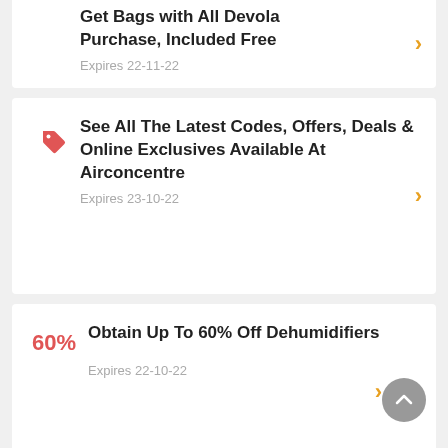Get Bags with All Devola Purchase, Included Free
Expires 22-11-22
See All The Latest Codes, Offers, Deals & Online Exclusives Available At Airconcentre
Expires 23-10-22
Obtain Up To 60% Off Dehumidifiers
Expires 22-10-22